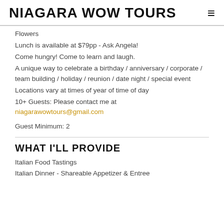NIAGARA WOW TOURS
Flowers
Lunch is available at $79pp - Ask Angela!
Come hungry! Come to learn and laugh.
A unique way to celebrate a birthday / anniversary / corporate / team building / holiday / reunion / date night / special event
Locations vary at times of year of time of day
10+ Guests: Please contact me at niagarawowtours@gmail.com
Guest Minimum: 2
WHAT I'LL PROVIDE
Italian Food Tastings
Italian Dinner - Shareable Appetizer & Entree